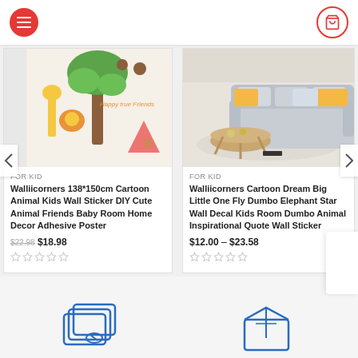[Figure (screenshot): Navigation top bar with red hamburger menu button on left and red circle cart icon on right]
[Figure (photo): Product image: cartoon animal kids wall sticker with giraffe, lion, tree, monkey on white wall]
FOR KID
Walliicorners 138*150cm Cartoon Animal Kids Wall Sticker DIY Cute Animal Friends Baby Room Home Decor Adhesive Poster
$22.98  $18.98
[Figure (photo): Product image: living room with gray sofa, yellow cushions, wooden coffee table]
FOR KID
Walliicorners Cartoon Dream Big Little One Fly Dumbo Elephant Star Wall Decal Kids Room Dumbo Animal Inspirational Quote Wall Sticker
$12.00 – $23.58
[Figure (illustration): Blue outline icon of stacked cards/images at bottom left]
[Figure (illustration): Blue outline icon of a box/package at bottom right]